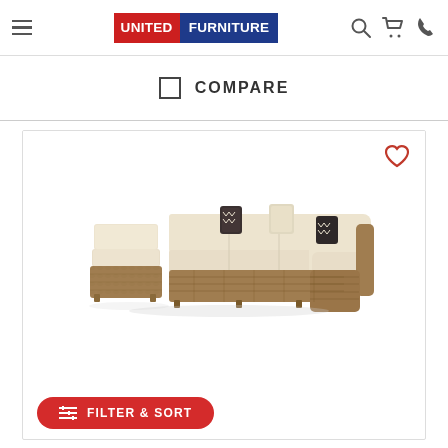United Furniture - navigation header with hamburger menu, logo, search, cart, and phone icons
COMPARE
[Figure (photo): Outdoor wicker sectional sofa set with beige cushions and decorative pillows, plus a separate armless chair. Brown wicker weave construction.]
FILTER & SORT